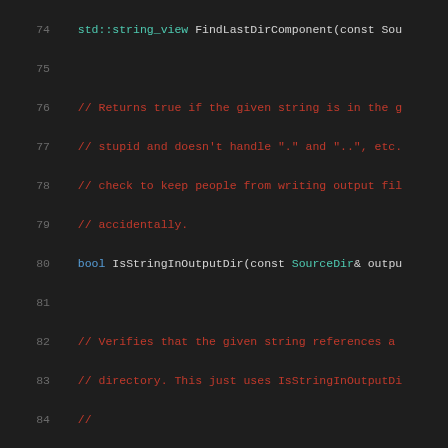[Figure (screenshot): Source code listing in a dark IDE theme showing C++ header file lines 74-95, with line numbers in gray, keywords in blue, comments in red, and type names in teal.]